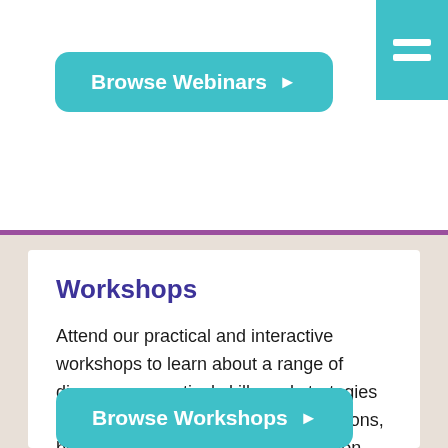[Figure (other): Teal hamburger menu icon in top-right corner]
Browse Webinars ▶
Workshops
Attend our practical and interactive workshops to learn about a range of diagnoses, practical skills and strategies to help develop the individual's emotions, behaviours, social and communication skills in your learning environment.
Browse Workshops ▶